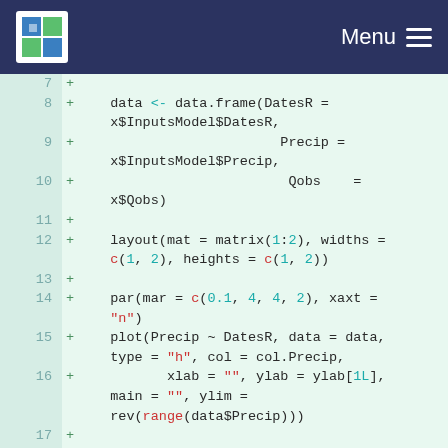Menu
[Figure (screenshot): R code snippet showing lines 7-18 of a script that creates a data frame with DatesR, Precip, Qobs, sets layout, par, and plot parameters for hydrological visualization]
7
8
9
10
11
12
13
14
15
16
17
18